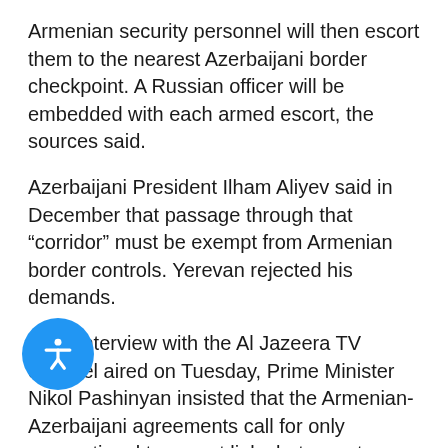Armenian security personnel will then escort them to the nearest Azerbaijani border checkpoint. A Russian officer will be embedded with each armed escort, the sources said.
Azerbaijani President Ilham Aliyev said in December that passage through that “corridor” must be exempt from Armenian border controls. Yerevan rejected his demands.
In an interview with the Al Jazeera TV channel aired on Tuesday, Prime Minister Nikol Pashinyan insisted that the Armenian-Azerbaijani agreements call for only conventional transport links between two countries.
“We have only one corridor in our region,” Pashinyan said. “It’s the Lachin corridor connecting Nagorno-Karabakh with …”
Areg Kochinyan, a Yerevan-based political analyst,